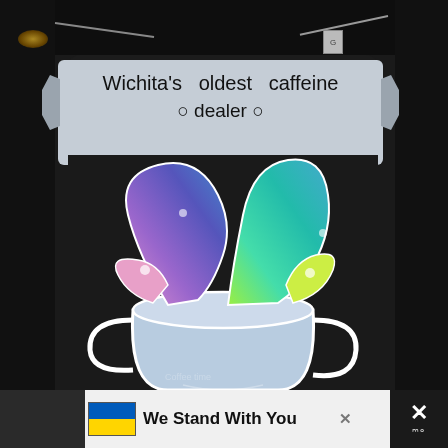[Figure (photo): A large indoor pillar painted with a mural. The mural shows a white banner ribbon at the top with handwritten-style text reading 'Wichita's oldest caffeine dealer' with coffee bean decorations. Below the banner is a painted coffee cup with colorful rainbow steam/liquid splashing upward — purple/blue on the left and teal/green/yellow on the right, against a black background. The image is photographed indoors.]
We Stand With You